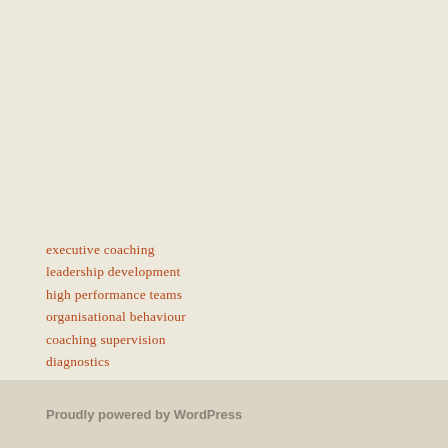executive coaching
leadership development
high performance teams
organisational behaviour
coaching supervision
diagnostics
research
Proudly powered by WordPress